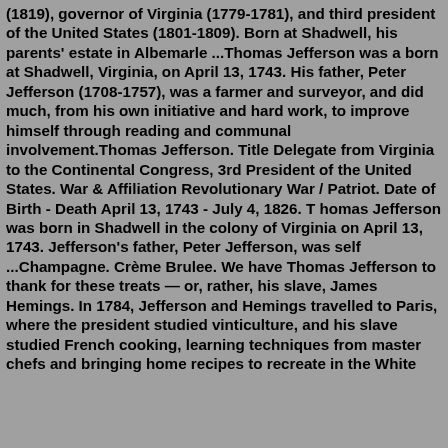(1819), governor of Virginia (1779-1781), and third president of the United States (1801-1809). Born at Shadwell, his parents' estate in Albemarle ...Thomas Jefferson was a born at Shadwell, Virginia, on April 13, 1743. His father, Peter Jefferson (1708-1757), was a farmer and surveyor, and did much, from his own initiative and hard work, to improve himself through reading and communal involvement.Thomas Jefferson. Title Delegate from Virginia to the Continental Congress, 3rd President of the United States. War & Affiliation Revolutionary War / Patriot. Date of Birth - Death April 13, 1743 - July 4, 1826. T homas Jefferson was born in Shadwell in the colony of Virginia on April 13, 1743. Jefferson's father, Peter Jefferson, was self ...Champagne. Crème Brulee. We have Thomas Jefferson to thank for these treats — or, rather, his slave, James Hemings. In 1784, Jefferson and Hemings travelled to Paris, where the president studied vinticulture, and his slave studied French cooking, learning techniques from master chefs and bringing home recipes to recreate in the White